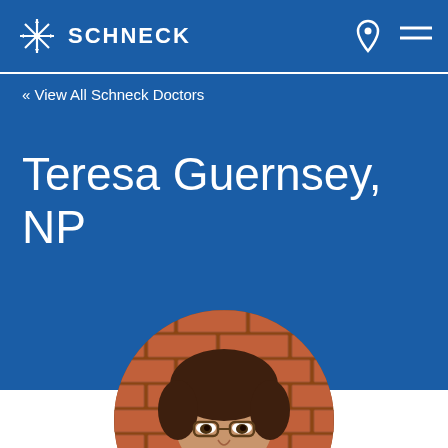SCHNECK
« View All Schneck Doctors
Teresa Guernsey, NP
[Figure (photo): Circular headshot photo of Teresa Guernsey, NP, a woman with short dark hair and glasses, wearing hoop earrings, standing in front of a brick wall background.]